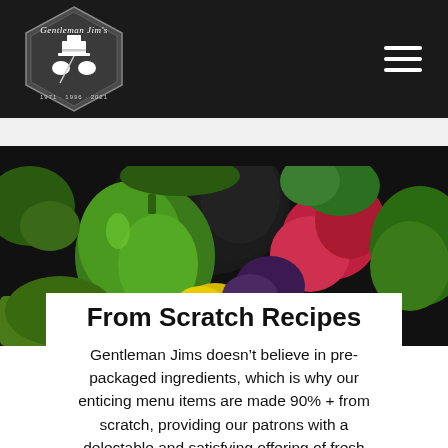[Figure (logo): Gentleman Jim's restaurant logo: hexagonal dark badge with top hat and gloved hands illustration, script text 'Gentleman Jim's' at top, years at bottom]
[Figure (photo): Close-up overhead photo of fresh vegetables including green bell pepper, radishes with green tops, dark avocado, yellow lemon, broccoli, purple cabbage, lettuce leaves on dark background]
From Scratch Recipes
Gentleman Jims doesn't believe in pre-packaged ingredients, which is why our enticing menu items are made 90% + from scratch, providing our patrons with a delectable and satisfying offering of fresh...